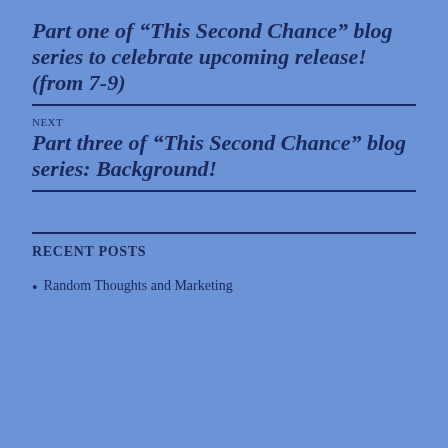Part one of “This Second Chance” blog series to celebrate upcoming release! (from 7-9)
NEXT
Part three of “This Second Chance” blog series: Background!
RECENT POSTS
Random Thoughts and Marketing